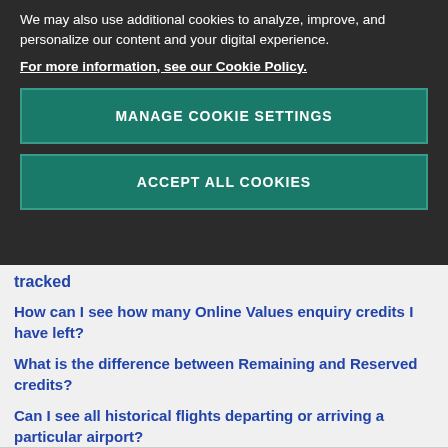We may also use additional cookies to analyze, improve, and personalize our content and your digital experience.
For more information, see our Cookie Policy.
MANAGE COOKIE SETTINGS
ACCEPT ALL COOKIES
tracked
How can I see how many Online Values enquiry credits I have left?
What is the difference between Remaining and Reserved credits?
Can I see all historical flights departing or arriving a particular airport?